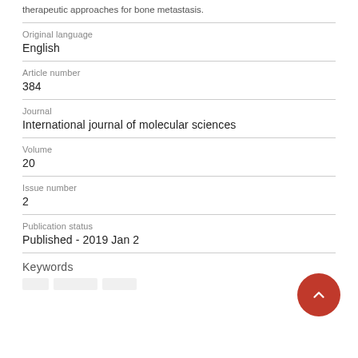therapeutic approaches for bone metastasis.
Original language
English
Article number
384
Journal
International journal of molecular sciences
Volume
20
Issue number
2
Publication status
Published - 2019 Jan 2
Keywords
[tag1] [tag2] [tag3]